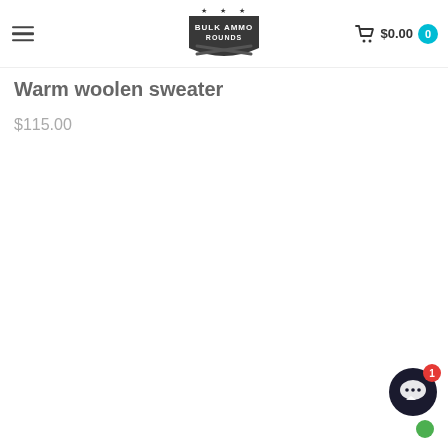Bulk Ammo Rounds — navigation header with hamburger menu, logo, cart $0.00 with badge 0
Warm woolen sweater
$115.00
[Figure (screenshot): Chat widget button in bottom-right corner with red badge showing number 1 and a green online dot below]